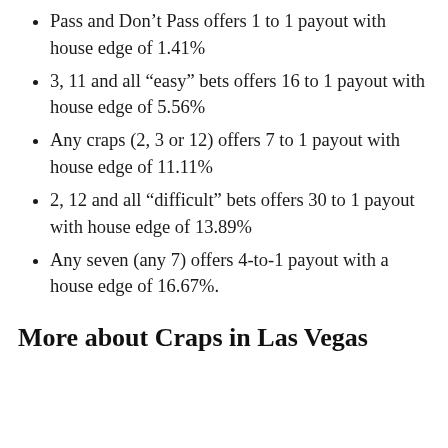Pass and Don't Pass offers 1 to 1 payout with house edge of 1.41%
3, 11 and all “easy” bets offers 16 to 1 payout with house edge of 5.56%
Any craps (2, 3 or 12) offers 7 to 1 payout with house edge of 11.11%
2, 12 and all “difficult” bets offers 30 to 1 payout with house edge of 13.89%
Any seven (any 7) offers 4-to-1 payout with a house edge of 16.67%.
More about Craps in Las Vegas